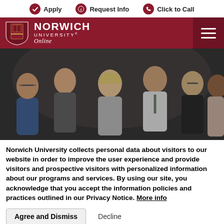Apply  Request Info  Click to Call
[Figure (logo): Norwich University Online logo with shield emblem on dark red/maroon navigation bar with hamburger menu icon]
[Figure (photo): Group of five professional adults smiling, standing together in business attire, against a dark background]
Norwich University collects personal data about visitors to our website in order to improve the user experience and provide visitors and prospective visitors with personalized information about our programs and services. By using our site, you acknowledge that you accept the information policies and practices outlined in our Privacy Notice. More info
Agree and Dismiss  Decline